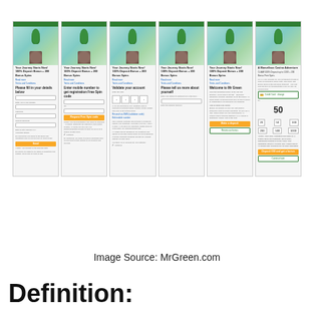[Figure (screenshot): Six mobile screenshots from MrGreen.com showing the casino registration flow: registration form, mobile number entry, account validation, personal details, welcome screen, and deposit/bonus confirmation screens.]
Image Source: MrGreen.com
Definition: